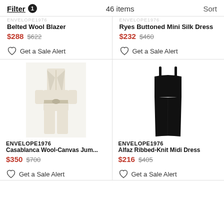Filter 1   46 items   Sort
ENVELOPE1976
Belted Wool Blazer
$288 $622
Get a Sale Alert
ENVELOPE1976
Ryes Buttoned Mini Silk Dress
$232 $460
Get a Sale Alert
[Figure (photo): Beige/cream Casablanca Wool-Canvas jumpsuit with belted waist, short sleeves, shown on white background]
[Figure (photo): Black Alfaz Ribbed-Knit Midi Dress with spaghetti straps, form-fitting, shown on white background]
ENVELOPE1976
Casablanca Wool-Canvas Jum...
$350 $700
Get a Sale Alert
ENVELOPE1976
Alfaz Ribbed-Knit Midi Dress
$216 $405
Get a Sale Alert